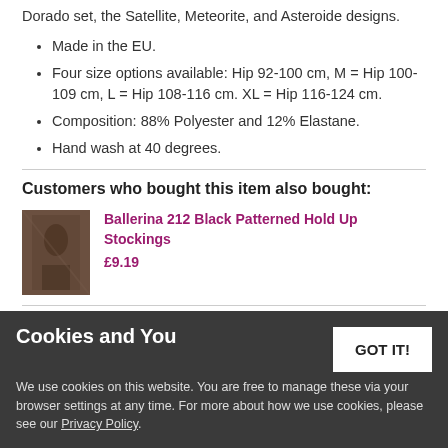Dorado set, the Satellite, Meteorite, and Asteroide designs.
Made in the EU.
Four size options available: Hip 92-100 cm, M = Hip 100-109 cm, L = Hip 108-116 cm. XL = Hip 116-124 cm.
Composition: 88% Polyester and 12% Elastane.
Hand wash at 40 degrees.
Customers who bought this item also bought:
Ballerina 212 Black Patterned Hold Up Stockings
£9.19
Exclusive Lux Black Hold Up Stockings by Gabriella
£9.99
you might also like
Dorado Black Lace Thong
Cookies and You
We use cookies on this website. You are free to manage these via your browser settings at any time. For more about how we use cookies, please see our Privacy Policy.